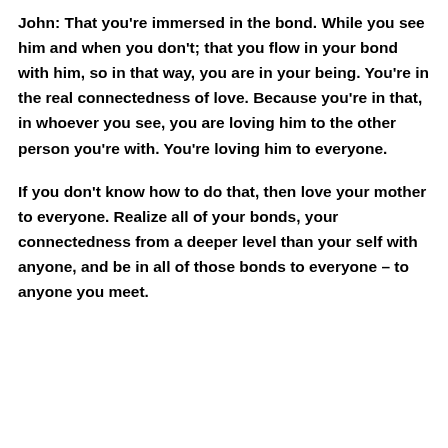John: That you're immersed in the bond. While you see him and when you don't; that you flow in your bond with him, so in that way, you are in your being. You're in the real connectedness of love. Because you're in that, in whoever you see, you are loving him to the other person you're with. You're loving him to everyone.
If you don't know how to do that, then love your mother to everyone. Realize all of your bonds, your connectedness from a deeper level than your self with anyone, and be in all of those bonds to everyone – to anyone you meet.